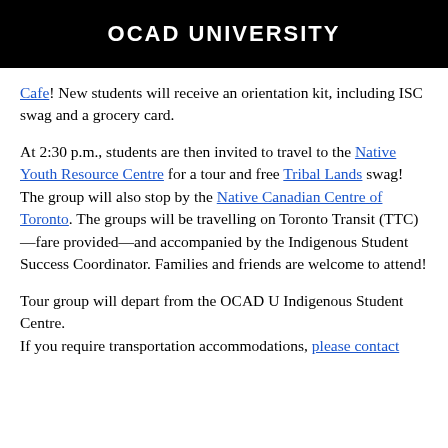OCAD UNIVERSITY
Cafe! New students will receive an orientation kit, including ISC swag and a grocery card.
At 2:30 p.m., students are then invited to travel to the Native Youth Resource Centre for a tour and free Tribal Lands swag! The group will also stop by the Native Canadian Centre of Toronto. The groups will be travelling on Toronto Transit (TTC)—fare provided—and accompanied by the Indigenous Student Success Coordinator. Families and friends are welcome to attend!
Tour group will depart from the OCAD U Indigenous Student Centre.
If you require transportation accommodations, please contact